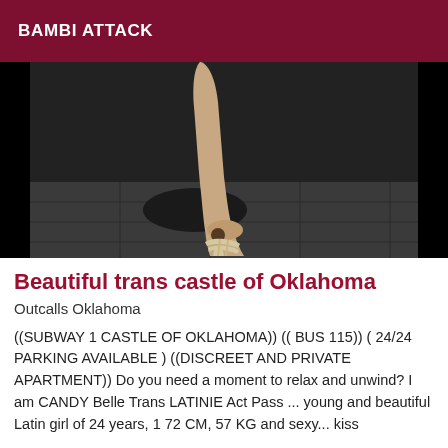BAMBI ATTACK
[Figure (photo): Photo of a woman's leg and high-heeled sandal with ankle tattoo, on a tiled floor, dark background]
Beautiful trans castle of Oklahoma
Outcalls Oklahoma
((SUBWAY 1 CASTLE OF OKLAHOMA)) (( BUS 115)) ( 24/24 PARKING AVAILABLE ) ((DISCREET AND PRIVATE APARTMENT)) Do you need a moment to relax and unwind? I am CANDY Belle Trans LATINIE Act Pass ... young and beautiful Latin girl of 24 years, 1 72 CM, 57 KG and sexy... kiss